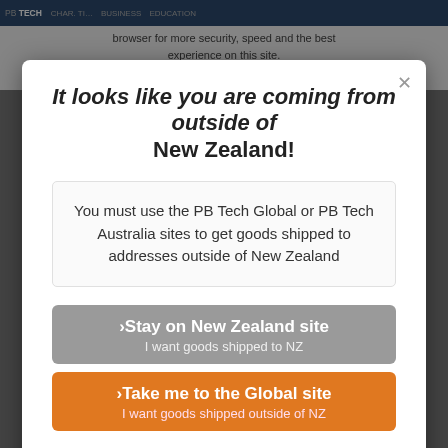browser for more security, speed and the best experience on this site.
It looks like you are coming from outside of New Zealand!
You must use the PB Tech Global or PB Tech Australia sites to get goods shipped to addresses outside of New Zealand
›Stay on New Zealand site
I want goods shipped to NZ
›Take me to the Global site
I want goods shipped outside of NZ
Or visit www.pbtech.com/au for shipping to Australia destinations